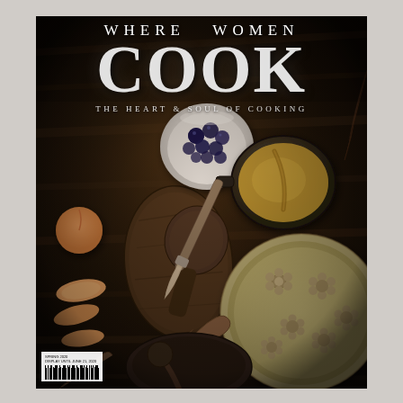[Figure (photo): Magazine cover of 'Where Women Cook' showing a dark, moody overhead shot of a rustic wooden table with hands preparing pie dough decorated with flower shapes, wooden spoons, cutting board, bowl of blueberries, sliced peaches/nectarines, cast iron pan with batter, and various cooking implements. Color palette is deep brown and black tones.]
WHERE WOMEN COOK - THE HEART & SOUL OF COOKING
SPRING 2020 DISPLAY UNTIL JUNE 21, 2020